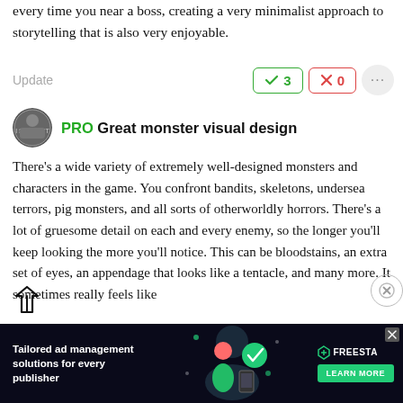every time you near a boss, creating a very minimalist approach to storytelling that is also very enjoyable.
Update   ✓ 3   ✗ 0   ...
PRO Great monster visual design
There's a wide variety of extremely well-designed monsters and characters in the game. You confront bandits, skeletons, undersea terrors, pig monsters, and all sorts of otherworldly horrors. There's a lot of gruesome detail on each and every enemy, so the longer you'll keep looking the more you'll notice. This can be bloodstains, an extra set of eyes, an appendage that looks like a tentacle, and many more. It sometimes really feels like
[Figure (infographic): Advertisement banner for Freestar ad management platform, dark background with illustrated characters and Freestar logo with Learn More button]